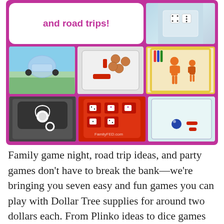[Figure (photo): Collage of seven images on a magenta/purple background showing family game ideas: a rounded white title box with pink text 'and road trips!', a photo of dice in a clear bag, a toy car with suction cups over a landscape, a clear case with pennies and red pieces, a yellow-bordered tray with orange paper doll figures and markers, a black headrest/seat with white headphones/cord, a red pill organizer case with dice, and a clear tray with a blue marble and red pieces. FamilyFED.com watermark visible.]
Family game night, road trip ideas, and party games don't have to break the bank—we're bringing you seven easy and fun games you can play with Dollar Tree supplies for around two dollars each. From Plinko ideas to dice games to dry-erase paper dolls, and more, these easy games are great for not only kids but also